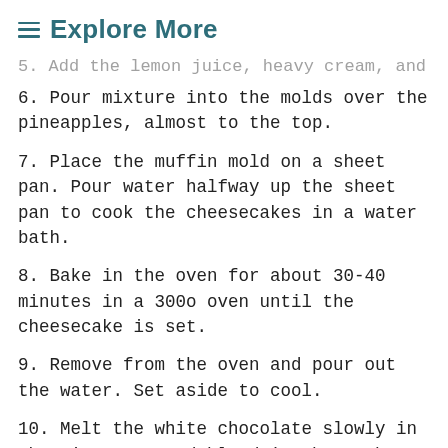☰ Explore More
5. Add the lemon juice, heavy cream, and sour cream...
6. Pour mixture into the molds over the pineapples, almost to the top.
7. Place the muffin mold on a sheet pan. Pour water halfway up the sheet pan to cook the cheesecakes in a water bath.
8. Bake in the oven for about 30-40 minutes in a 300o oven until the cheesecake is set.
9. Remove from the oven and pour out the water. Set aside to cool.
10. Melt the white chocolate slowly in the microwave and blend in the graham cracker crumbs completely. Spoon or pipe on top of each cheesecake. Place mold in cooler overnight.